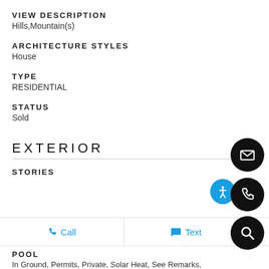VIEW DESCRIPTION
Hills,Mountain(s)
ARCHITECTURE STYLES
House
TYPE
RESIDENTIAL
STATUS
Sold
EXTERIOR
STORIES
POOL
In Ground, Permits, Private, Solar Heat, See Remarks,